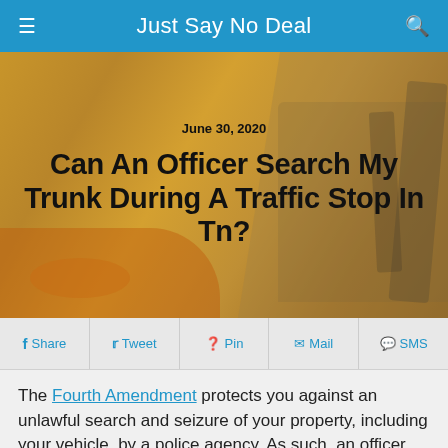Just Say No Deal
[Figure (photo): Hero image with golden/amber toned background showing a car and a police officer, with article date and title overlaid. Date: June 30, 2020. Title: Can An Officer Search My Trunk During A Traffic Stop In Tn?]
Share | Tweet | Pin | Mail | SMS
The Fourth Amendment protects you against an unlawful search and seizure of your property, including your vehicle, by a police agency. As such, an officer must present a warrant or show probable cause for a search. You can also give consent to a